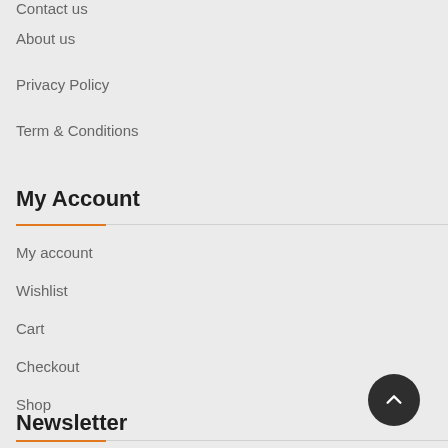Contact us
About us
Privacy Policy
Term & Conditions
My Account
My account
Wishlist
Cart
Checkout
Shop
Newsletter